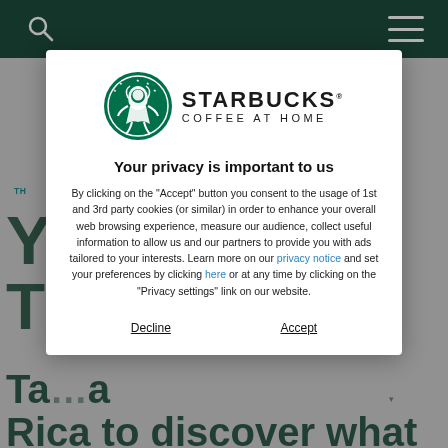[Figure (screenshot): Starbucks Coffee At Home website page partially visible in background, showing a dark teal header with search and menu icons, and a partially visible article headline about traveling to Costa Rica to discover what agronomists and farmers are doing.]
[Figure (other): Privacy consent modal dialog overlay on the Starbucks Coffee At Home website. Contains the Starbucks Coffee At Home logo at the top, a bold title 'Your privacy is important to us', body text about cookie consent, links to privacy notice and settings, and two buttons: Decline and Accept.]
Your privacy is important to us
By clicking on the "Accept" button you consent to the usage of 1st and 3rd party cookies (or similar) in order to enhance your overall web browsing experience, measure our audience, collect useful information to allow us and our partners to provide you with ads tailored to your interests. Learn more on our privacy notice and set your preferences by clicking here or at any time by clicking on the "Privacy settings" link on our website.
Decline
Accept